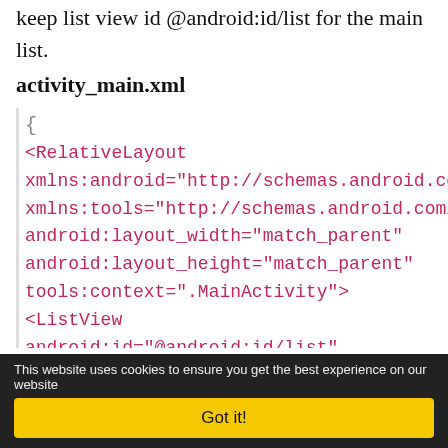keep list view id @android:id/list for the main list.
activity_main.xml
{
<RelativeLayout
xmlns:android="http://schemas.android.com/
xmlns:tools="http://schemas.android.com/to
android:layout_width="match_parent"
android:layout_height="match_parent"
tools:context=".MainActivity">
<ListView
android:id="@android:id/list"
android:layout_width="match_parent"
This website uses cookies to ensure you get the best experience on our website
Got it!